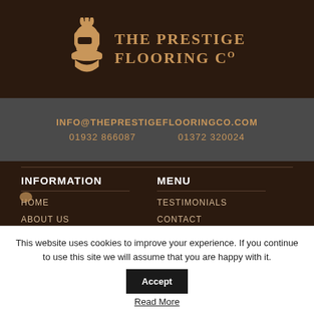[Figure (logo): The Prestige Flooring Co logo with knight helmet icon and text]
INFO@THEPRESTIGEFLOORINGCO.COM
01932 866087    01372 320024
INFORMATION
MENU
HOME
TESTIMONIALS
ABOUT US
CONTACT
PRODUCTS & SERVICES
Q&A
GALLERY
BLOG
PROJECT SHOWCASE
PROJECTS
USEFUL
This website uses cookies to improve your experience. If you continue to use this site we will assume that you are happy with it.
Accept
Read More